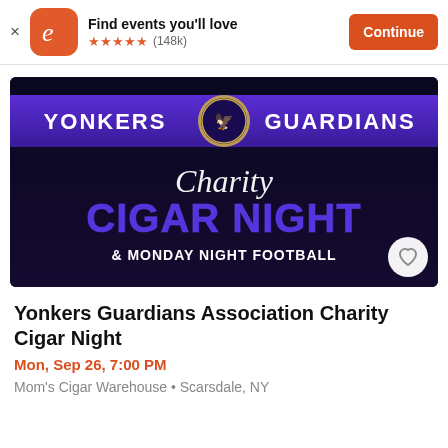Find events you'll love ★★★★★ (148k) Continue
[Figure (photo): Yonkers Guardians Charity Cigar Night & Monday Night Football event promotional image with dark purple/black background, large bold text reading YONKERS GUARDIANS with Charity Cigar Night and & Monday Night Football]
Yonkers Guardians Association Charity Cigar Night
Mon, Sep 26, 7:00 PM
Mom's Cigar Warehouse • Scarsdale, NY